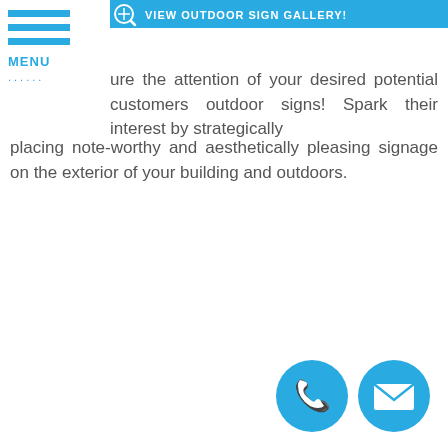[Figure (other): Blue button with text VIEW OUTDOOR SIGN GALLERY with a globe/eye icon]
[Figure (other): Hamburger menu icon with three blue horizontal bars and MENU label]
ure the attention of your desired potential customers outdoor signs! Spark their interest by strategically placing note-worthy and aesthetically pleasing signage on the exterior of your building and outdoors.
[Figure (other): Blue circular phone icon button at bottom right]
[Figure (other): Blue circular email/envelope icon button at bottom right]